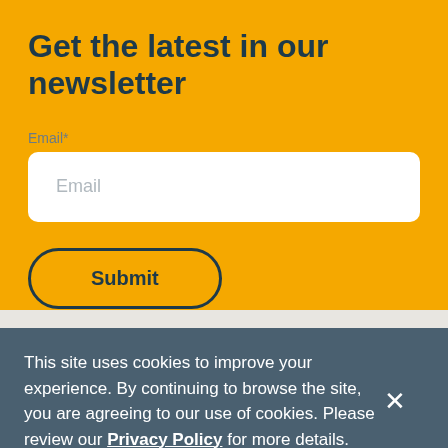Get the latest in our newsletter
Email*
Email
Submit
This site uses cookies to improve your experience. By continuing to browse the site, you are agreeing to our use of cookies. Please review our Privacy Policy for more details.